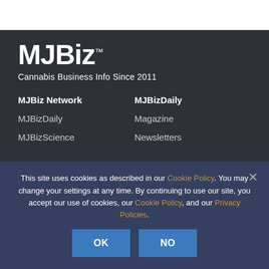[Figure (logo): MJBiz logo with trademark symbol in white on dark background]
Cannabis Business Info Since 2011
MJBiz Network
MJBizDaily
MJBizDaily
Magazine
MJBizScience
Newsletters
This site uses cookies as described in our Cookie Policy. You may change your settings at any time. By continuing to use our site, you accept our use of cookies, our Cookie Policy, and our Privacy Policies.